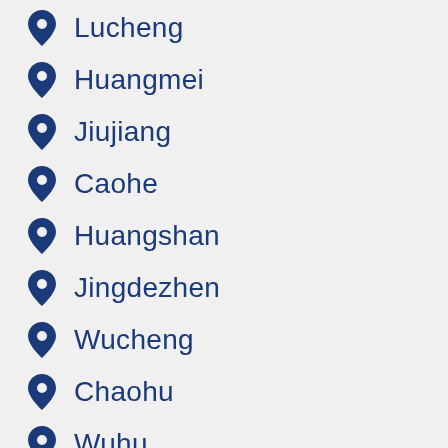Lucheng
Huangmei
Jiujiang
Caohe
Huangshan
Jingdezhen
Wucheng
Chaohu
Wuhu
Wuxue